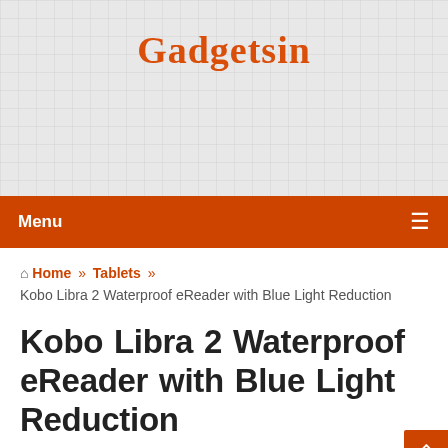Gadgetsin
Menu
Home » Tablets » Kobo Libra 2 Waterproof eReader with Blue Light Reduction
Kobo Libra 2 Waterproof eReader with Blue Light Reduction
Daniel  10/14/2021  Tablets